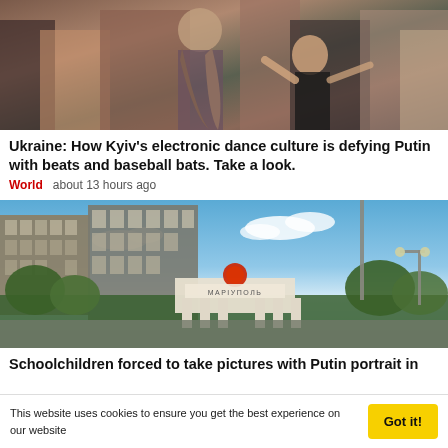[Figure (photo): People dancing outdoors, close-up of dancers in casual clothing]
Ukraine: How Kyiv's electronic dance culture is defying Putin with beats and baseball bats. Take a look.
World   about 13 hours ago
[Figure (photo): City entrance sign reading Мариуполь (Mariupol) with white columns, apartment buildings and blue sky in background]
Schoolchildren forced to take pictures with Putin portrait in
This website uses cookies to ensure you get the best experience on our website